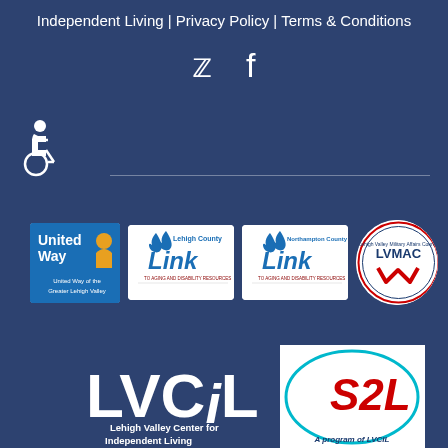Independent Living | Privacy Policy | Terms & Conditions
[Figure (other): Twitter and Facebook social media icons]
[Figure (other): Wheelchair accessibility icon]
[Figure (other): United Way of the Greater Lehigh Valley logo]
[Figure (other): Lehigh County Link To Aging and Disability Resources logo]
[Figure (other): Northampton County Link To Aging and Disability Resources logo]
[Figure (other): LVMAC Lehigh Valley Military Affairs Council logo]
[Figure (logo): LVCiL Lehigh Valley Center for Independent Living logo]
[Figure (logo): S2L - A program of LVCIL logo]